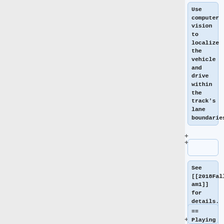Use computer vision to localize the vehicle and drive within the track's lane boundaries.
See [[2018FallTeam1]] for details.
== Playing Fetch ==